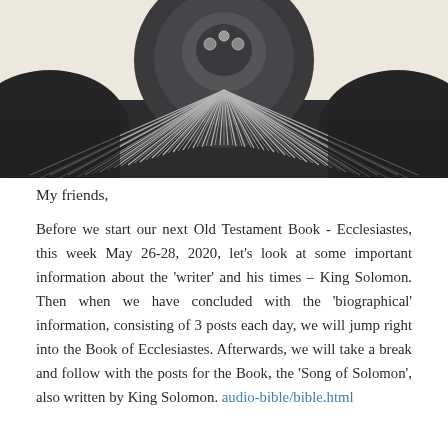[Figure (photo): Close-up black and white photograph of a vintage typewriter mechanism, showing the typehead/daisy wheel in the center and radiating metal type bars spreading outward, with the typewriter body visible at the bottom corners.]
My friends,
Before we start our next Old Testament Book - Ecclesiastes, this week May 26-28, 2020, let's look at some important information about the 'writer' and his times – King Solomon. Then when we have concluded with the 'biographical' information, consisting of 3 posts each day, we will jump right into the Book of Ecclesiastes. Afterwards, we will take a break and follow with the posts for the Book, the 'Song of Solomon', also written by King Solomon. audio-bible/bible.html